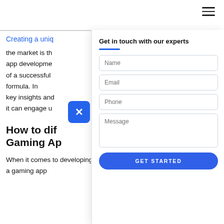☰ (hamburger menu)
Creating a unique gaming app that stands out in the market is the key goal of our mobile gaming app development services. Understanding the components of a successful gaming app is part of our proven formula. In this article, we'll share with you some key insights and tips on how to develop a gaming app so it can engage users.
Get in touch with our experts
Name
Email
Phone
Message
GET STARTED
How to differentiate your Gaming App
When it comes to developing a gaming app,